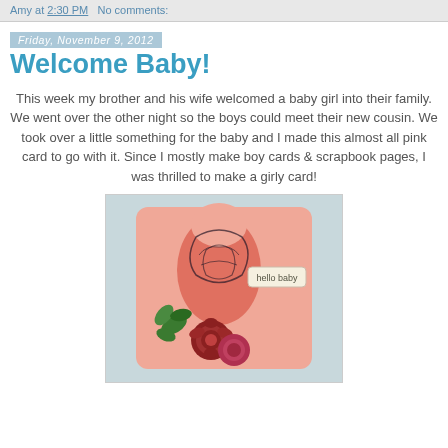Amy at 2:30 PM   No comments:
Friday, November 9, 2012
Welcome Baby!
This week my brother and his wife welcomed a baby girl into their family. We went over the other night so the boys could meet their new cousin. We took over a little something for the baby and I made this almost all pink card to go with it. Since I mostly make boy cards & scrapbook pages, I was thrilled to make a girly card!
[Figure (photo): A handmade pink greeting card with a decorative stamped mirror/frame motif in coral/salmon color, decorated with paper flowers (roses in dark red/pink and green leaves), and a tag reading 'hello baby']